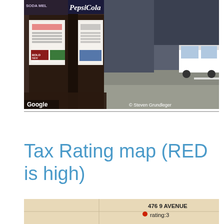[Figure (photo): Google Street View photo of a storefront on 9th Avenue, New York City. Shows a deli/restaurant with Pepsi-Cola sign, posters in windows, pedestrians on sidewalk, police vehicle visible. Credits: Google, © Steven Grundleger]
Tax Rating map (RED is high)
[Figure (map): Partial tax rating map showing a location at 476 9 AVENUE with rating:3, marked with a red dot on a beige/tan map background]